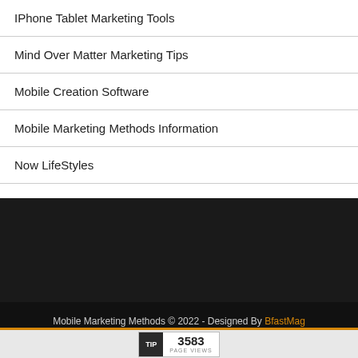IPhone Tablet Marketing Tools
Mind Over Matter Marketing Tips
Mobile Creation Software
Mobile Marketing Methods Information
Now LifeStyles
Mobile Marketing Methods © 2022 - Designed By BfastMag Powered by WordPress
[Figure (other): Page views badge showing 3583 page views]